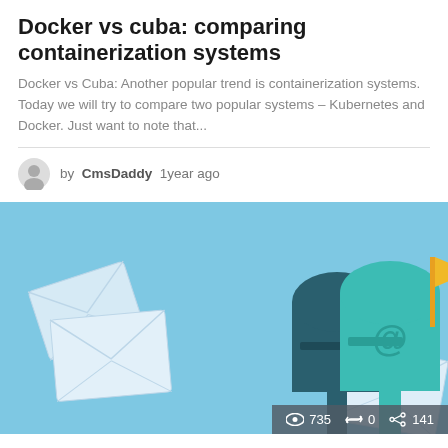Docker vs cuba: comparing containerization systems
Docker vs Cuba: Another popular trend is containerization systems. Today we will try to compare two popular systems – Kubernetes and Docker. Just want to note that...
by CmsDaddy 1year ago
[Figure (illustration): Light blue background illustration showing white envelope letters flying and two mailboxes (one dark teal, one teal with @ symbol and yellow flag). Stats bar showing eye icon 735, retweet icon 0, share icon 141.]
Sending mail through the console